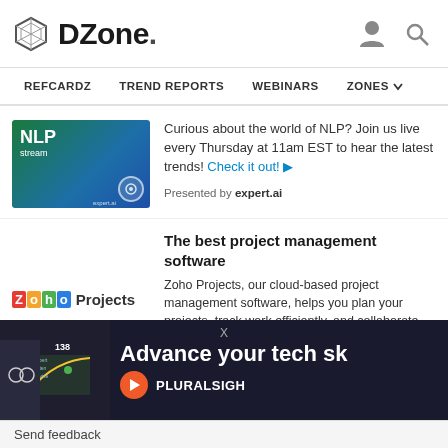DZone. REFCARDZ  TREND REPORTS  WEBINARS  ZONES
[Figure (screenshot): NLP stream banner ad from expert.ai]
Curious about the world of NLP? Join us live every Thursday at 11am EST to hear the latest trends! Check it out! ▶
Presented by expert.ai
[Figure (logo): Zoho Projects logo]
The best project management software
Zoho Projects, our cloud-based project management software, helps you plan your projects, track work efficiently, and collaborate Sign Up Now ▶
Presented by Zoho
[Figure (screenshot): Advance your tech skills - Pluralsight advertisement banner with person wearing glasses, chart graphic, X close button]
Send feedback